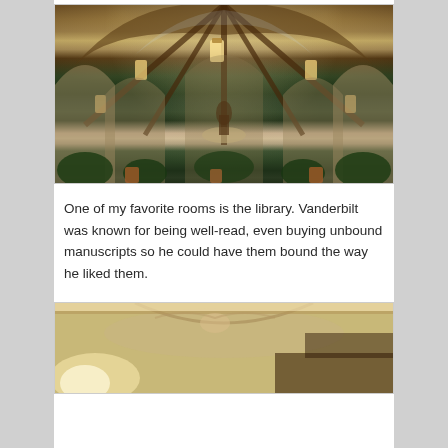[Figure (photo): Interior of a grand atrium with a glass and wood vaulted ceiling, hanging lantern lights, stone arched columns, lush tropical plants, and a central fountain with a bronze statue.]
One of my favorite rooms is the library. Vanderbilt was known for being well-read, even buying unbound manuscripts so he could have them bound the way he liked them.
[Figure (photo): Interior view of an ornate library ceiling with painted murals and decorative architectural details, with warm candlelight or lamp illumination visible.]